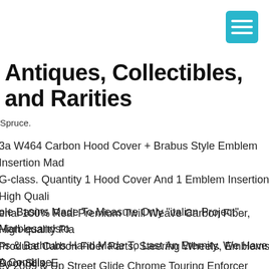[Figure (other): Teal/cyan hamburger menu button icon in top right corner]
Antiques, Collectibles, and Rarities
Spruce.
3a W464 Carbon Hood Cover + Brabus Style Emblem Insertion Mad G-class. Quantity 1 Hood Cover And 1 Emblem Insertion. High Quali erial 100% Real Premium Twill Weave Carbon Fiber, High-quality Pla Produce Carbon Fiber Parts, Steering Wheels, Emblems, Door Sills, E
ole Basins Made To Measure Only "italian Project" . Marblesandsto ns & Bathtubs Hand Made To Last An Eternity. We Have A Combine erience Of Over 50 Years In The Building Trade And In Developing ucts From Concept To Sourcing The Right Factories To Manufacture
ey 2009 & Up Street Glide Chrome Touring Enforcer Wheels Rotors ers. Wheels Rotors Sliders With The Bearings Installed As Shown. ra Glide Ultra Limited Flhtk.